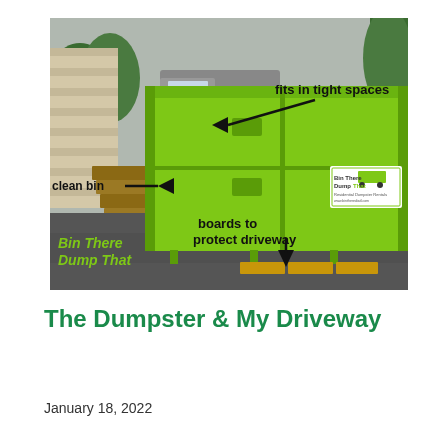[Figure (photo): A bright green dumpster (Bin There Dump That brand) sitting in a residential driveway. The photo has black arrow annotations pointing to features: 'fits in tight spaces' (upper right), 'clean bin' (left side), and 'boards to protect driveway' (lower center). The brand logo and name 'Bin There Dump That' appear in green text at the lower left. Wooden boards are visible under the dumpster's feet.]
The Dumpster & My Driveway
January 18, 2022